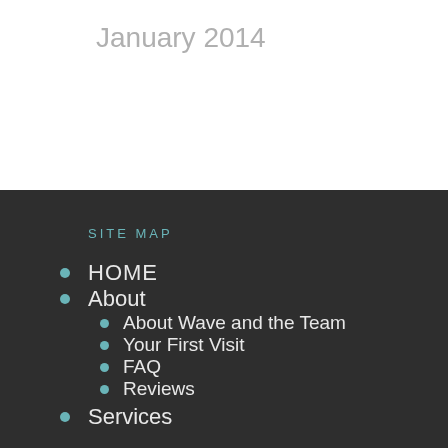January 2014
SITE MAP
HOME
About
About Wave and the Team
Your First Visit
FAQ
Reviews
Services